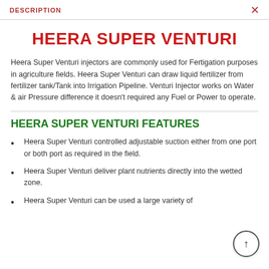DESCRIPTION
HEERA SUPER VENTURI
Heera Super Venturi injectors are commonly used for Fertigation purposes in agriculture fields. Heera Super Venturi can draw liquid fertilizer from fertilizer tank/Tank into Irrigation Pipeline. Venturi Injector works on Water & air Pressure difference it doesn't required any Fuel or Power to operate.
HEERA SUPER VENTURI FEATURES
Heera Super Venturi controlled adjustable suction either from one port or both port as required in the field.
Heera Super Venturi deliver plant nutrients directly into the wetted zone.
Heera Super Venturi can be used a large variety of